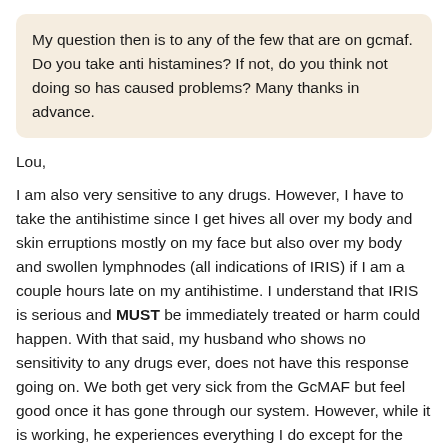My question then is to any of the few that are on gcmaf. Do you take anti histamines? If not, do you think not doing so has caused problems? Many thanks in advance.
Lou,
I am also very sensitive to any drugs. However, I have to take the antihistime since I get hives all over my body and skin erruptions mostly on my face but also over my body and swollen lymphnodes (all indications of IRIS) if I am a couple hours late on my antihistime. I understand that IRIS is serious and MUST be immediately treated or harm could happen. With that said, my husband who shows no sensitivity to any drugs ever, does not have this response going on. We both get very sick from the GcMAF but feel good once it has gone through our system. However, while it is working, he experiences everything I do except for the swollen lymph nodes and hives etc. He doesn't take antihistimine since after the first shot, he saw that he didn't have a histimine reaction like I did. I would never take it without the antihistimine. I